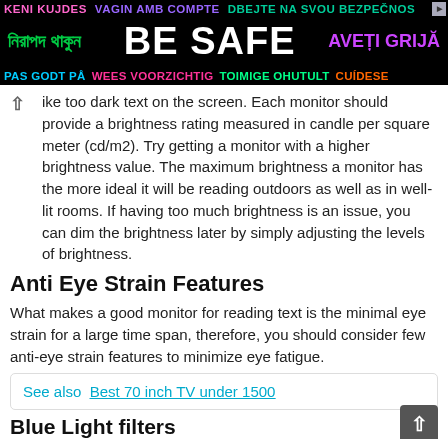[Figure (other): Multilingual 'BE SAFE' advertisement banner with text in multiple languages on black background]
ike too dark text on the screen. Each monitor should provide a brightness rating measured in candle per square meter (cd/m2). Try getting a monitor with a higher brightness value. The maximum brightness a monitor has the more ideal it will be reading outdoors as well as in well-lit rooms. If having too much brightness is an issue, you can dim the brightness later by simply adjusting the levels of brightness.
Anti Eye Strain Features
What makes a good monitor for reading text is the minimal eye strain for a large time span, therefore, you should consider few anti-eye strain features to minimize eye fatigue.
See also  Best 70 inch TV under 1500
Blue Light filters